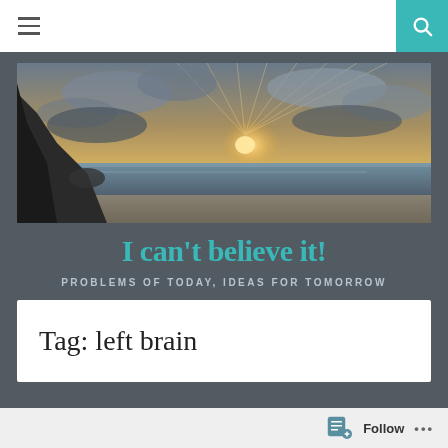≡  🔍
[Figure (photo): A wide panoramic photo of a beach at sunset or sunrise with dramatic rays of light breaking through clouds, dark rocky cliffs on the left, ocean waves, and sandy beach.]
I can't believe it!
PROBLEMS OF TODAY, IDEAS FOR TOMORROW
Tag: left brain
Follow ...